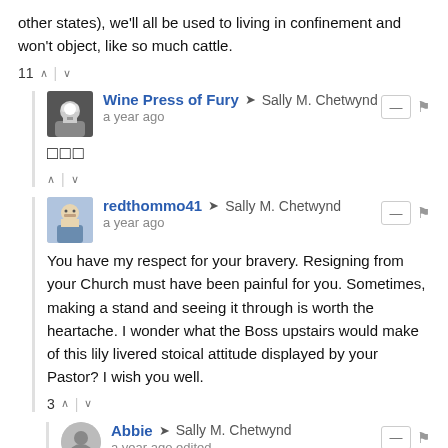other states), we'll all be used to living in confinement and won't object, like so much cattle.
11 ↑ | ↓
Wine Press of Fury → Sally M. Chetwynd
a year ago
□□□
redthommo41 → Sally M. Chetwynd
a year ago
You have my respect for your bravery. Resigning from your Church must have been painful for you. Sometimes, making a stand and seeing it through is worth the heartache. I wonder what the Boss upstairs would make of this lily livered stoical attitude displayed by your Pastor? I wish you well.
3 ↑ | ↓
Abbie → Sally M. Chetwynd
a year ago edited
The pastor out-and-out proclaimed to the congregation that anyone who can't or won't adhere to the church's policy (no